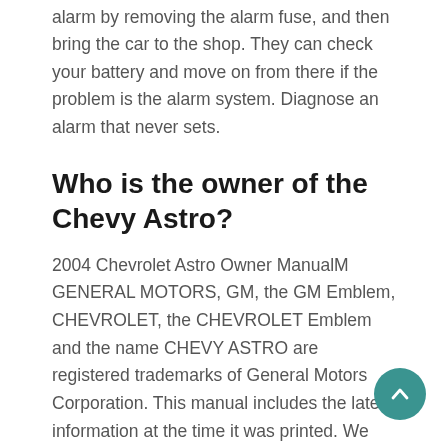alarm by removing the alarm fuse, and then bring the car to the shop. They can check your battery and move on from there if the problem is the alarm system. Diagnose an alarm that never sets.
Who is the owner of the Chevy Astro?
2004 Chevrolet Astro Owner ManualM GENERAL MOTORS, GM, the GM Emblem, CHEVROLET, the CHEVROLET Emblem and the name CHEVY ASTRO are registered trademarks of General Motors Corporation. This manual includes the latest information at the time it was printed. We reserve the right to make changes after that time without further notice.